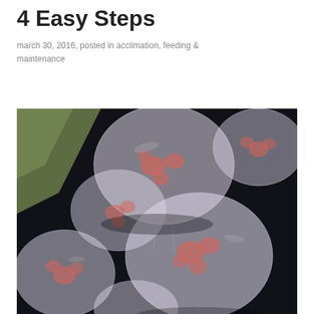4 Easy Steps
march 30, 2016, posted in acclimation, feeding & maintenance
[Figure (photo): Close-up photograph of multiple moon jellyfish with translucent white bells and pink/orange gonads, photographed against a dark background.]